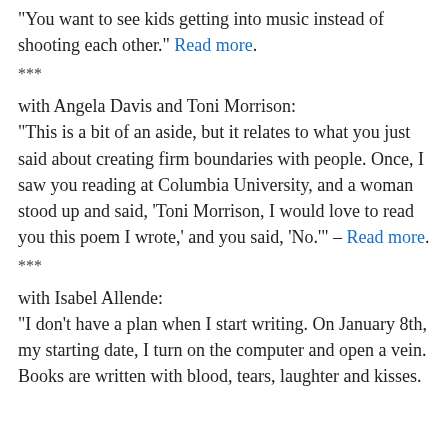“You want to see kids getting into music instead of shooting each other.” Read more.
***
with Angela Davis and Toni Morrison:
“This is a bit of an aside, but it relates to what you just said about creating firm boundaries with people. Once, I saw you reading at Columbia University, and a woman stood up and said, ‘Toni Morrison, I would love to read you this poem I wrote,’ and you said, ‘No.’” – Read more.
***
with Isabel Allende:
“I don’t have a plan when I start writing. On January 8th, my starting date, I turn on the computer and open a vein. Books are written with blood, tears, laughter and kisses.